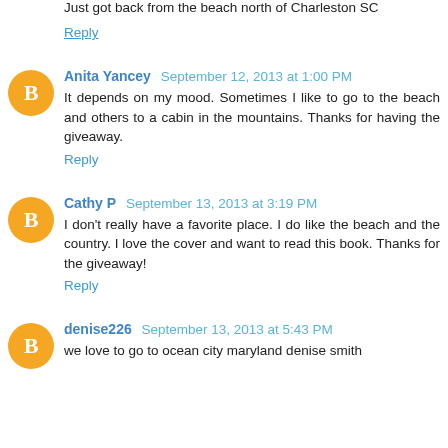Just got back from the beach north of Charleston SC
Reply
Anita Yancey September 12, 2013 at 1:00 PM
It depends on my mood. Sometimes I like to go to the beach and others to a cabin in the mountains. Thanks for having the giveaway.
Reply
Cathy P September 13, 2013 at 3:19 PM
I don't really have a favorite place. I do like the beach and the country. I love the cover and want to read this book. Thanks for the giveaway!
Reply
denise226 September 13, 2013 at 5:43 PM
we love to go to ocean city maryland denise smith